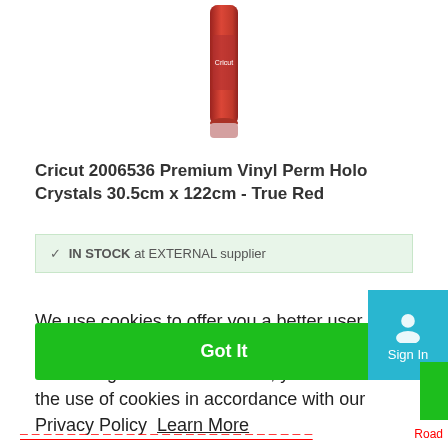[Figure (photo): Product image of a red vinyl roll (Cricut Premium Vinyl Perm Holo Crystals True Red), partially visible at top center]
Cricut 2006536 Premium Vinyl Perm Holo Crystals 30.5cm x 122cm - True Red
✓ IN STOCK at EXTERNAL supplier
We use cookies to offer you a better user experience and analyse site traffic. By continuing to use this website, you consent to the use of cookies in accordance with our Privacy Policy  Learn More
Got It
Sign In
Road